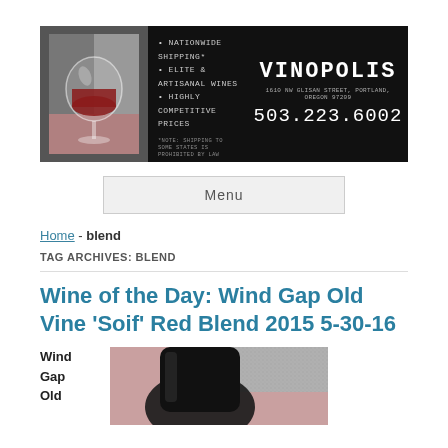[Figure (logo): Vinopolis wine shop banner ad with wine glass illustration, bullet points listing Nationwide Shipping, Elite & Artisanal Wines, Highly Competitive Prices, and contact info: 1610 NW Glisan Street, Portland, Oregon 97209, 503.223.6002]
Menu
Home - blend
TAG ARCHIVES: BLEND
Wine of the Day: Wind Gap Old Vine 'Soif' Red Blend 2015 5-30-16
Wind Gap Old
[Figure (photo): Partial photo of a wine bottle label against a pink/grey background]